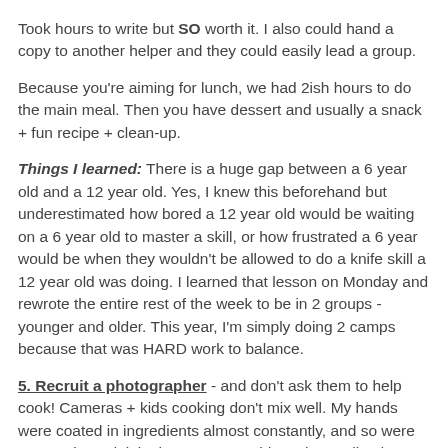Took hours to write but SO worth it. I also could hand a copy to another helper and they could easily lead a group.
Because you're aiming for lunch, we had 2ish hours to do the main meal. Then you have dessert and usually a snack + fun recipe + clean-up.
Things I learned: There is a huge gap between a 6 year old and a 12 year old. Yes, I knew this beforehand but underestimated how bored a 12 year old would be waiting on a 6 year old to master a skill, or how frustrated a 6 year would be when they wouldn't be allowed to do a knife skill a 12 year old was doing. I learned that lesson on Monday and rewrote the entire rest of the week to be in 2 groups - younger and older. This year, I'm simply doing 2 camps because that was HARD work to balance.
5. Recruit a photographer - and don't ask them to help cook! Cameras + kids cooking don't mix well. My hands were coated in ingredients almost constantly, and so were every other adult in the room. By mid-week, I realized we were missing loads of great photos because we were too busy to